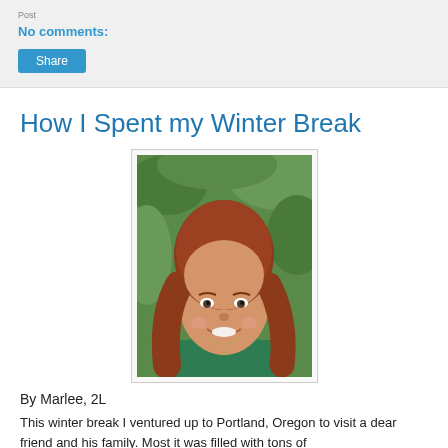No comments:
[Figure (other): Share button - blue rectangular button with white text]
How I Spent my Winter Break
[Figure (photo): Portrait photo of a young woman with long red hair wearing a green jacket, smiling, with green foliage in the background]
By Marlee, 2L
This winter break I ventured up to Portland, Oregon to visit a dear friend and his family. Most it was filled with tons of